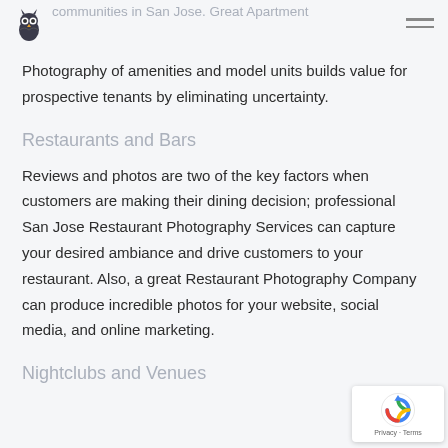communities in San Jose. Great Apartment
Photography of amenities and model units builds value for prospective tenants by eliminating uncertainty.
Restaurants and Bars
Reviews and photos are two of the key factors when customers are making their dining decision; professional San Jose Restaurant Photography Services can capture your desired ambiance and drive customers to your restaurant. Also, a great Restaurant Photography Company can produce incredible photos for your website, social media, and online marketing.
Nightclubs and Venues